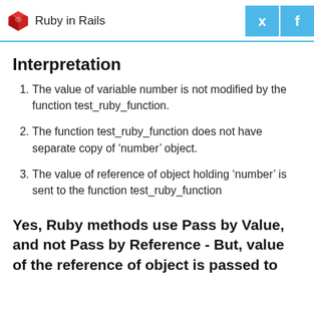Ruby in Rails
Interpretation
The value of variable number is not modified by the function test_ruby_function.
The function test_ruby_function does not have separate copy of 'number' object.
The value of reference of object holding 'number' is sent to the function test_ruby_function
Yes, Ruby methods use Pass by Value, and not Pass by Reference - But, value of the reference of object is passed to